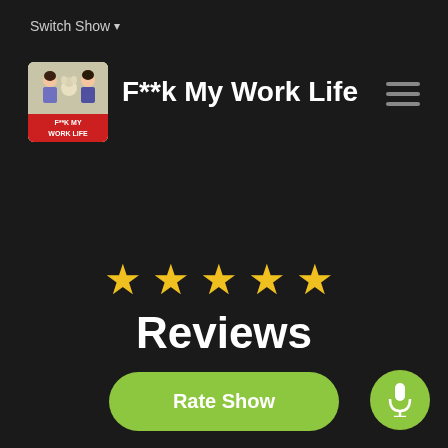Switch Show
F**k My Work Life
[Figure (illustration): Podcast show thumbnail/logo image for F**k My Work Life with cartoon figures and red band at bottom]
[Figure (other): Hamburger menu icon (three horizontal lines)]
[Figure (other): Five gold/yellow star rating icons]
Reviews
Rate Show
[Figure (other): Green circular microphone button in bottom right corner]